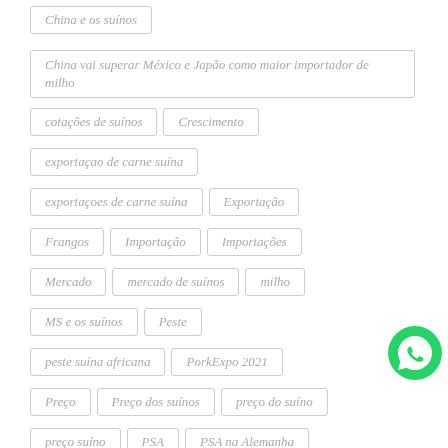China e os suínos
China vai superar México e Japão como maior importador de milho
cotações de suínos
Crescimento
exportaçao de carne suína
exportaçoes de carne suína
Exportação
Frangos
Importação
Importações
Mercado
mercado de suínos
milho
MS e os suínos
Peste
peste suína africana
PorkExpo 2021
Preço
Preço dos suínos
preço do suíno
preço suíno
PSA
PSA na Alemanha
psa na Ucrânia
PSA no mundo
Queda